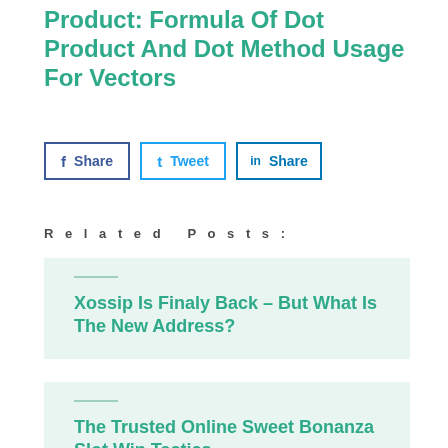Product: Formula Of Dot Product And Dot Method Usage For Vectors
[Figure (other): Share buttons row: Facebook Share, Twitter Tweet, LinkedIn Share]
Related Posts:
Xossip Is Finaly Back – But What Is The New Address?
The Trusted Online Sweet Bonanza Slot Win Tactics